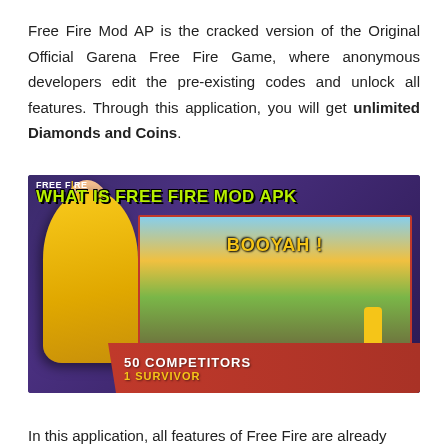Free Fire Mod AP is the cracked version of the Original Official Garena Free Fire Game, where anonymous developers edit the pre-existing codes and unlock all features. Through this application, you will get unlimited Diamonds and Coins.
[Figure (photo): Promotional image for Free Fire Mod APK showing a female character in yellow suit pointing at viewer, game screenshot showing 'BOOYAH!' text and a competitor figure on a battlefield, with text overlays: 'FREE FIRE', 'WHAT IS FREE FIRE MOD APK', '50 COMPETITORS', '1 SURVIVOR']
In this application, all features of Free Fire are already